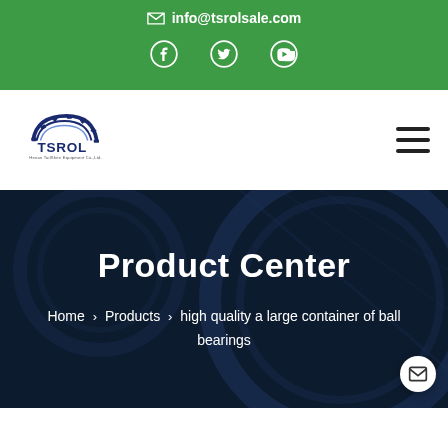info@tsrolsale.com
[Figure (logo): TSROL company logo with gear icon and text]
Product Center
Home > Products > high quality a large container of ball bearings